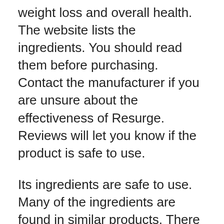weight loss and overall health. The website lists the ingredients. You should read them before purchasing. Contact the manufacturer if you are unsure about the effectiveness of Resurge. Reviews will let you know if the product is safe to use.
Its ingredients are safe to use. Many of the ingredients are found in similar products. There aren't any adverse side effects with Resurge, however it is a safe method to shed pounds. The cost of Resurge is $49, which includes shipping. It's made up of eight essential ingredients that are vital for the growth of muscles. Before purchasing it, make sure you consult your doctor if have any concerns about the composition of the ingredients. The formula also includes amino